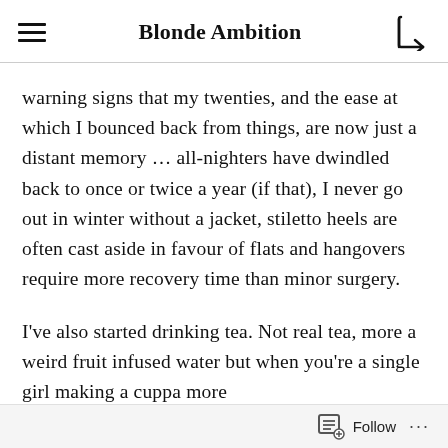Blonde Ambition
warning signs that my twenties, and the ease at which I bounced back from things, are now just a distant memory … all-nighters have dwindled back to once or twice a year (if that), I never go out in winter without a jacket, stiletto heels are often cast aside in favour of flats and hangovers require more recovery time than minor surgery.
I've also started drinking tea. Not real tea, more a weird fruit infused water but when you're a single girl making a cuppa more
Follow ...